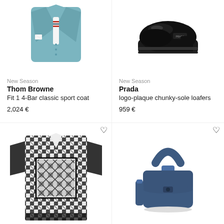[Figure (photo): Light blue/teal Thom Browne sport coat with striped tie detail, shown on white background, top half visible]
New Season
Thom Browne
Fit 1 4-Bar classic sport coat
2,024 €
[Figure (photo): Black patent leather Prada logo-plaque chunky-sole loafers on white background, top-down view]
New Season
Prada
logo-plaque chunky-sole loafers
959 €
[Figure (photo): Black and white geometric patterned short-sleeve shirt/top with bold square motif on chest]
[Figure (photo): Small dark blue/navy Jacquemus mini handbag with top handle and strap]